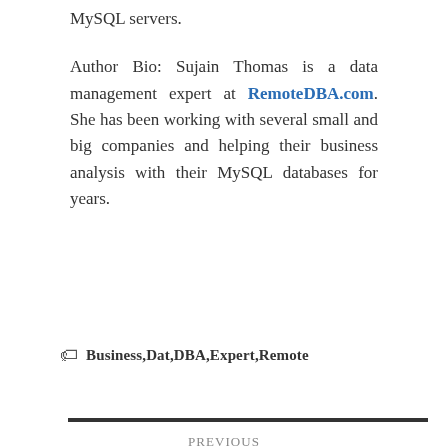MySQL servers.
Author Bio: Sujain Thomas is a data management expert at RemoteDBA.com. She has been working with several small and big companies and helping their business analysis with their MySQL databases for years.
🏷 Business,Dat,DBA,Expert,Remote
PREVIOUS
HOW TO IMPROVE YOUR CREATIVE WRITING: INSPIRING ADVICE